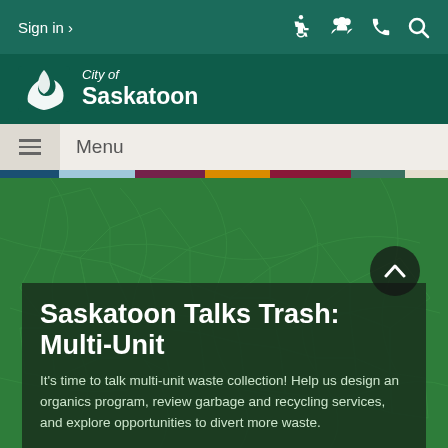Sign in ›
[Figure (logo): City of Saskatoon logo with stylized leaf/S icon]
Menu
Saskatoon Talks Trash: Multi-Unit
It's time to talk multi-unit waste collection! Help us design an organics program, review garbage and recycling services, and explore opportunities to divert more waste.